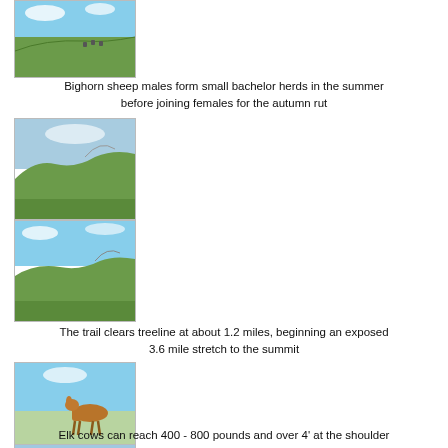[Figure (photo): Bighorn sheep on a grassy hillside under blue sky]
Bighorn sheep males form small bachelor herds in the summer before joining females for the autumn rut
[Figure (photo): Mountain alpine meadow with green slopes and rocky peaks]
[Figure (photo): Mountain alpine meadow with green slopes and sky]
The trail clears treeline at about 1.2 miles, beginning an exposed 3.6 mile stretch to the summit
[Figure (photo): Elk cow standing in alpine meadow under blue sky]
[Figure (photo): Elk cow standing in meadow under cloudy sky]
Elk cows can reach 400 - 800 pounds and over 4' at the shoulder
[Figure (photo): Partial photo at bottom of page - sky and landscape]